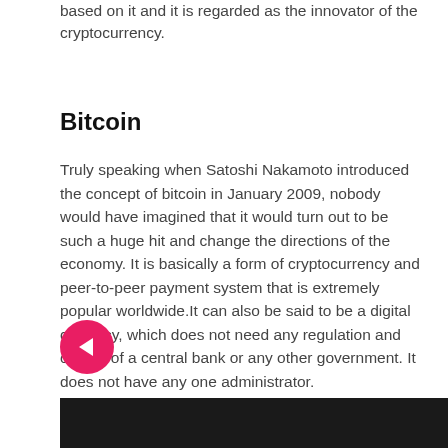based on it and it is regarded as the innovator of the cryptocurrency.
Bitcoin
Truly speaking when Satoshi Nakamoto introduced the concept of bitcoin in January 2009, nobody would have imagined that it would turn out to be such a huge hit and change the directions of the economy. It is basically a form of cryptocurrency and peer-to-peer payment system that is extremely popular worldwide.It can also be said to be a digital currency, which does not need any regulation and control of a central bank or any other government. It does not have any one administrator.
[Figure (photo): Photo strip at the bottom of the page, dark background showing partial image]